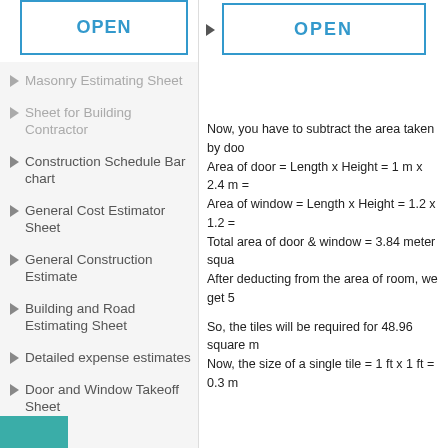[Figure (screenshot): OPEN button with blue border]
Masonry Estimating Sheet
Sheet for Building Contractor
Construction Schedule Bar chart
General Cost Estimator Sheet
General Construction Estimate
Building and Road Estimating Sheet
Detailed expense estimates
Door and Window Takeoff Sheet
General Construction Cost Estimating Sheet
Now, you have to subtract the area taken by doo... Area of door = Length x Height = 1 m x 2.4 m ... Area of window = Length x Height = 1.2 x 1.2 ... Total area of door & window = 3.84 meter squa... After deducting from the area of room, we get 5...
So, the tiles will be required for 48.96 square m... Now, the size of a single tile = 1 ft x 1 ft = 0.3 m...